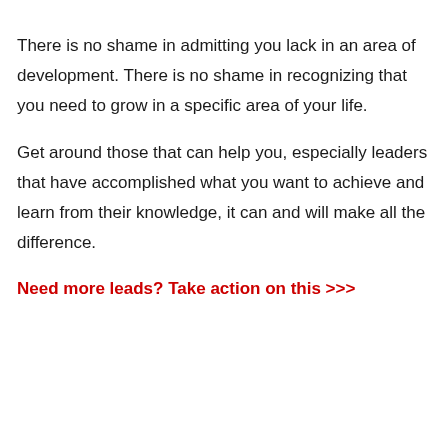There is no shame in admitting you lack in an area of development. There is no shame in recognizing that you need to grow in a specific area of your life.
Get around those that can help you, especially leaders that have accomplished what you want to achieve and learn from their knowledge, it can and will make all the difference.
Need more leads? Take action on this >>>